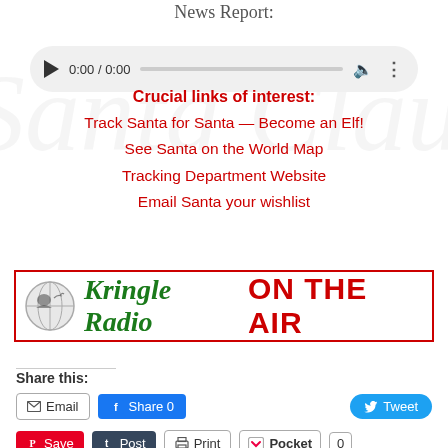News Report:
[Figure (other): Audio player with play button, time display 0:00 / 0:00, progress bar, volume and menu icons]
Crucial links of interest:
Track Santa for Santa — Become an Elf!
See Santa on the World Map
Tracking Department Website
Email Santa your wishlist
[Figure (other): Kringle Radio ON THE AIR banner with globe/Santa logo, green italic text 'Kringle Radio' and bold red text 'ON THE AIR', red border]
Share this:
Email  Share 0  Tweet
Save  Post  Print  Pocket  0